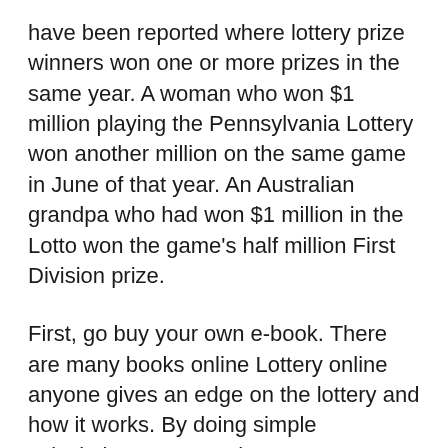have been reported where lottery prize winners won one or more prizes in the same year. A woman who won $1 million playing the Pennsylvania Lottery won another million on the same game in June of that year. An Australian grandpa who had won $1 million in the Lotto won the game's half million First Division prize.
First, go buy your own e-book. There are many books online Lottery online anyone gives an edge on the lottery and how it works. By doing simple calculations, you can increase your chances of winning the lottery and hitting it big.
The first which involves mostly you have to play the lottery as well as the price tag. No